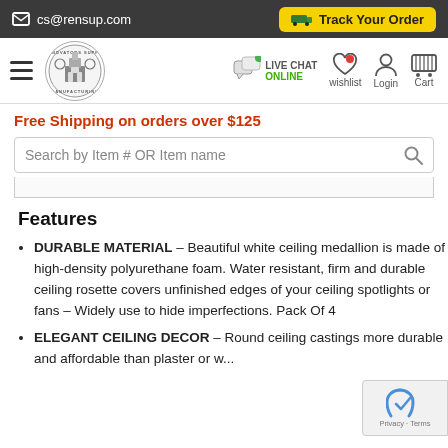cs@rensup.com | Track Your Order
[Figure (logo): Renovators Supply Manufacturing circular logo with building illustration]
Live Chat ONLINE | wishlist | Login | Cart
Free Shipping on orders over $125
Search by Item # OR Item name
Features
DURABLE MATERIAL – Beautiful white ceiling medallion is made of high-density polyurethane foam. Water resistant, firm and durable ceiling rosette covers unfinished edges of your ceiling spotlights or fans – Widely use to hide imperfections. Pack Of 4
ELEGANT CEILING DECOR – Round ceiling castings more durable and affordable than plaster or w... High quality...